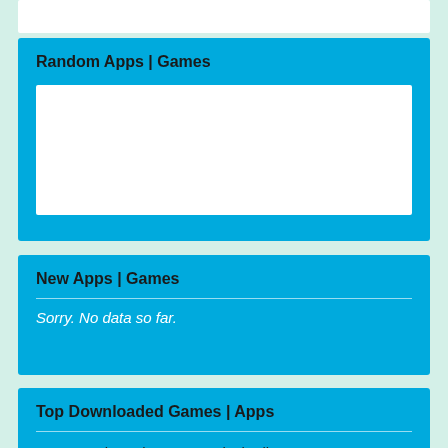Random Apps | Games
[Figure (other): White empty content box inside Random Apps section]
New Apps | Games
Sorry. No data so far.
Top Downloaded Games | Apps
Azar Apk Mod v3.11.5 Unlock All